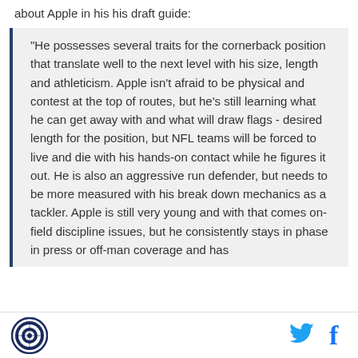about Apple in his his draft guide:
"He possesses several traits for the cornerback position that translate well to the next level with his size, length and athleticism. Apple isn't afraid to be physical and contest at the top of routes, but he's still learning what he can get away with and what will draw flags - desired length for the position, but NFL teams will be forced to live and die with his hands-on contact while he figures it out. He is also an aggressive run defender, but needs to be more measured with his break down mechanics as a tackler. Apple is still very young and with that comes on-field discipline issues, but he consistently stays in phase in press or off-man coverage and has
[Figure (logo): Circular logo with blue border and emblem in footer]
[Figure (logo): Twitter bird icon in cyan]
[Figure (logo): Facebook f icon in blue]